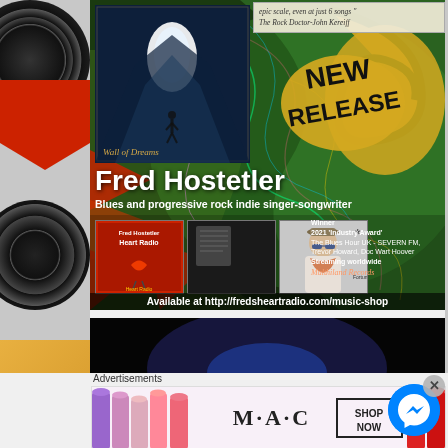[Figure (illustration): Fred Hostetler music promotion banner with album art, artist name, and award information]
epic scale, even at just 6 songs "
The Rock Doctor-John Kereiff
NEW RELEASE
Fred Hostetler
Blues and progressive rock indie singer-songwriter
Winner
2021 'Industry Award'
The Blues Hour UK - SEVERN FM,
Trevor Howard, Doc Wart Hoover
Streaming worldwide
Multhiland Records
Available at http://fredsheartradio.com/music-shop
Advertisements
[Figure (photo): MAC cosmetics advertisement with lipsticks and SHOP NOW call to action]